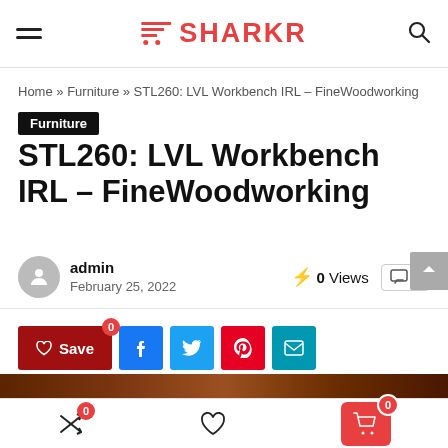SHARKR
Home » Furniture » STL260: LVL Workbench IRL – FineWoodworking
Furniture
STL260: LVL Workbench IRL – FineWoodworking
admin
February 25, 2022
0 Views  0
Save 0
[Figure (photo): Partial image strip at the bottom of the article preview]